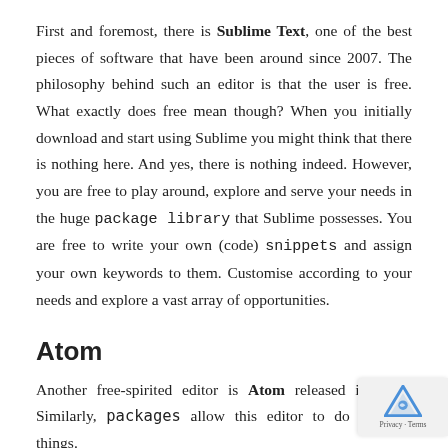First and foremost, there is Sublime Text, one of the best pieces of software that have been around since 2007. The philosophy behind such an editor is that the user is free. What exactly does free mean though? When you initially download and start using Sublime you might think that there is nothing here. And yes, there is nothing indeed. However, you are free to play around, explore and serve your needs in the huge package library that Sublime possesses. You are free to write your own (code) snippets and assign your own keywords to them. Customise according to your needs and explore a vast array of opportunities.
Atom
Another free-spirited editor is Atom released in 2014. Similarly, packages allow this editor to do amazing things.